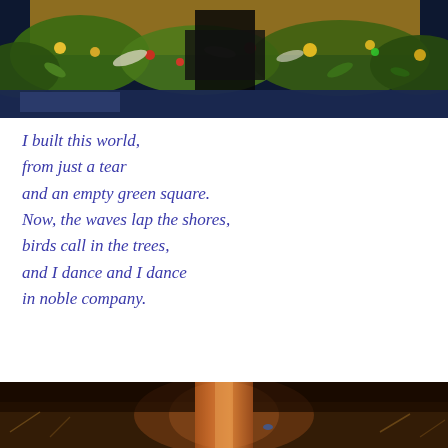[Figure (photo): A colorful artistic photo showing floral patterns and decorative elements with dark background, mirrored or reflective effect with yellows, greens, reds and blues.]
I built this world,
from just a tear
and an empty green square.
Now, the waves lap the shores,
birds call in the trees,
and I dance and I dance
in noble company.
[Figure (photo): A dark nighttime photo of illuminated trees with orange/amber light, surrounded by dry grasses and foliage in a forest scene.]